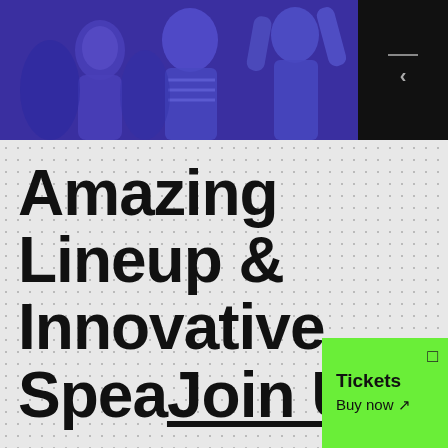[Figure (photo): Blue-tinted photo of people at an event, raising hands, crowd scene. Black box in top-right corner with a small horizontal line and left-pointing arrow.]
Amazing Lineup & Innovative Speakers Join U
[Figure (infographic): Green overlay panel with 'Tickets' label and 'Buy now' with arrow link, positioned in bottom-right area.]